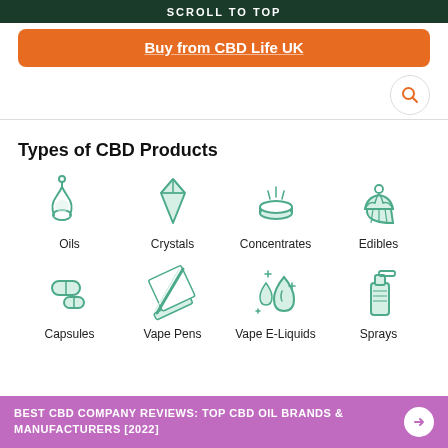SCROLL TO TOP
Buy from CBD Life UK
[Figure (infographic): Types of CBD Products grid with 8 icons: Oils (dropper), Crystals (diamond gem), Concentrates (dish with vapor), Edibles (cupcake), Capsules (pills), Vape Pens (pen), Vape E-Liquids (droplets), Sprays (spray bottle)]
BEST CBD COMPANY REVIEWS: TOP CBD OIL BRANDS & MANUFACTURERS [2022]